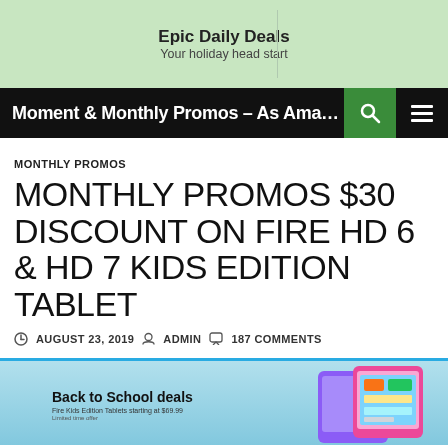Epic Daily Deals
Your holiday head start
Moment & Monthly Promos – As Amazon...
MONTHLY PROMOS
MONTHLY PROMOS $30 DISCOUNT ON FIRE HD 6 & HD 7 KIDS EDITION TABLET
AUGUST 23, 2019  ADMIN  187 COMMENTS
[Figure (illustration): Back to School deals banner with light blue background showing Amazon Fire Kids Edition tablet devices (pink and purple cases) and text 'Back to School deals - Fire Kids Edition Tablets starting at $69.99']